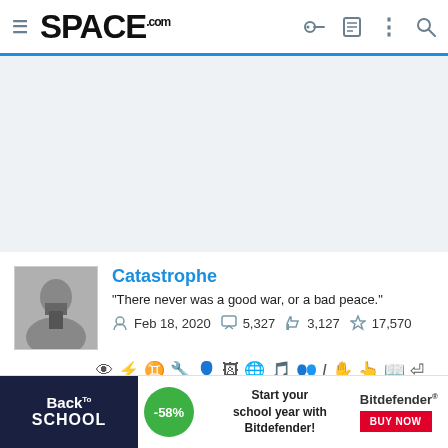SPACE.com
[Figure (other): Gray advertisement placeholder area]
Catastrophe
"There never was a good war, or a bad peace."
Feb 18, 2020   5,327   3,127   17,570
[Figure (infographic): Row of small icon symbols for user actions/badges]
[Figure (infographic): Bottom advertisement: Back to School, -58%, Start your school year with Bitdefender! BUY NOW]